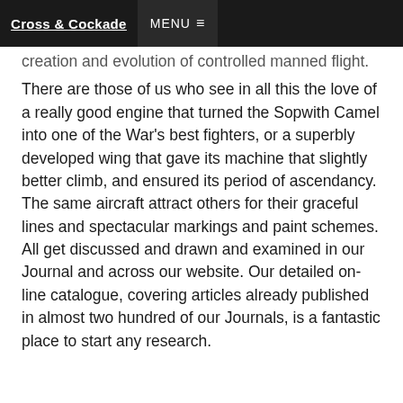Cross & Cockade  MENU ≡
creation and evolution of controlled manned flight. There are those of us who see in all this the love of a really good engine that turned the Sopwith Camel into one of the War's best fighters, or a superbly developed wing that gave its machine that slightly better climb, and ensured its period of ascendancy. The same aircraft attract others for their graceful lines and spectacular markings and paint schemes. All get discussed and drawn and examined in our Journal and across our website. Our detailed on-line catalogue, covering articles already published in almost two hundred of our Journals, is a fantastic place to start any research.